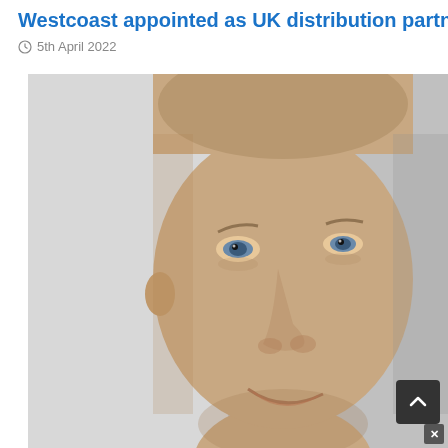Westcoast appointed as UK distribution partner for Dell Tec
5th April 2022
[Figure (photo): Close-up portrait photo of a bald/shaved-head man smiling, against a light grey background. The image is cropped tightly showing his face from forehead to chin.]